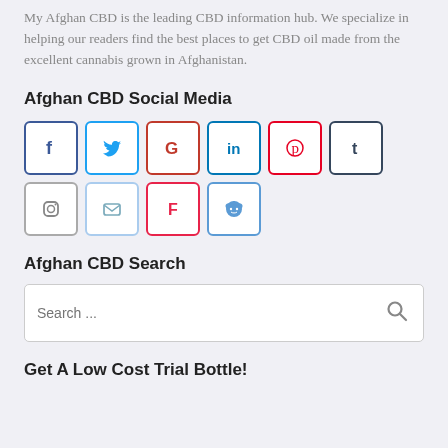My Afghan CBD is the leading CBD information hub. We specialize in helping our readers find the best places to get CBD oil made from the excellent cannabis grown in Afghanistan.
Afghan CBD Social Media
[Figure (other): Social media icon buttons: Facebook, Twitter, Google, LinkedIn, Pinterest, Tumblr, Instagram, Email, Foursquare, Reddit]
Afghan CBD Search
[Figure (other): Search bar with placeholder text 'Search ...' and a search icon]
Get A Low Cost Trial Bottle!